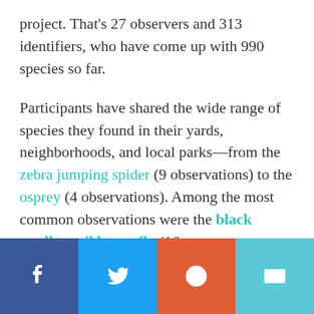project. That's 27 observers and 313 identifiers, who have come up with 990 species so far.
Participants have shared the wide range of species they found in their yards, neighborhoods, and local parks—from the zebra jumping spider (9 observations) to the osprey (4 observations). Among the most common observations were the black swallowtail butterfly (16
[Figure (other): Social sharing bar with four buttons: Facebook (blue), Twitter (light blue), Reddit (orange-red), and Email (light blue). Each button has a white icon.]